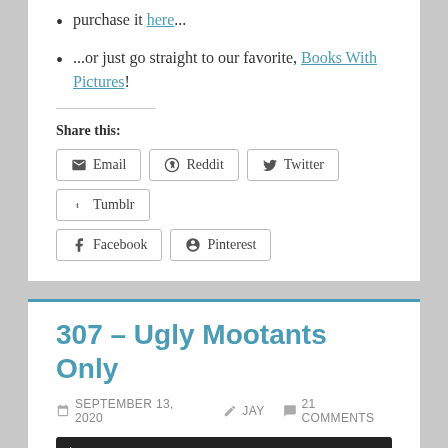purchase it here...
...or just go straight to our favorite, Books With Pictures!
Share this:
[Figure (other): Share buttons: Email, Reddit, Twitter, Tumblr, Facebook, Pinterest]
307 – Ugly Mootants Only
SEPTEMBER 13, 2020   JAY   21 COMMENTS
[Figure (other): Audio player with play button, time 00:00, progress bar, end time 00:00]